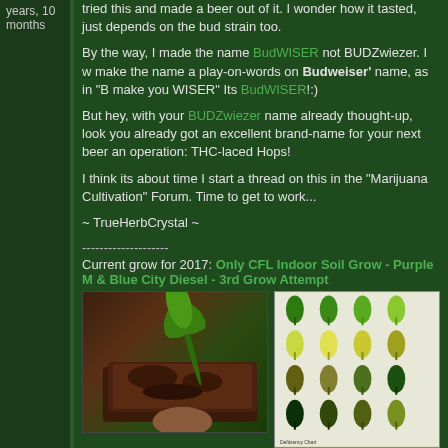years, 10 months
tried this and made a beer out of it. I wonder how it tasted, just depends on the bud strain too.

By the way, I made the name BudWISER not BUDZwiezer. I w make the name a play-on-words on Budweiser' name, as in "B make you WISER" Its BudWISER!:)

But hey, with your BUDZwiezer name already thought-up, look you already got an excellent brand-name for your next beer an operation: THC-laced Hops!

I think its about time I start a thread on this in the "Marijuana Cultivation" Forum. Time to get to work...

~ TrueHerbCrystal ~
--------------------
Current grow for 2017: Only CFL Indoor Soil Grow - Purple M & Blue City Diesel - 3rd Grow Attempt
[Figure (photo): Photo of a cannabis brownie - chocolate brownie with cannabis leaf on top]
[Figure (illustration): Cannabis leaf color chart showing various leaf conditions and deficiencies]